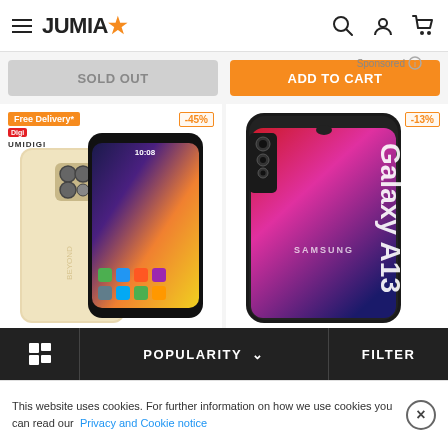JUMIA
Sponsored
SOLD OUT
ADD TO CART
[Figure (photo): UMIDIGI smartphone product image showing two phones, -45% discount badge, Free Delivery badge]
[Figure (photo): Samsung Galaxy A13 smartphone product image, -13% discount badge]
POPULARITY ∨
FILTER
This website uses cookies. For further information on how we use cookies you can read our Privacy and Cookie notice